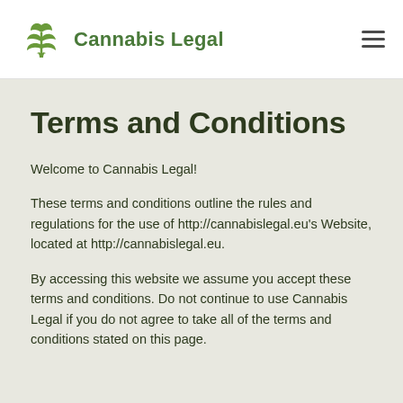Cannabis Legal
Terms and Conditions
Welcome to Cannabis Legal!
These terms and conditions outline the rules and regulations for the use of http://cannabislegal.eu's Website, located at http://cannabislegal.eu.
By accessing this website we assume you accept these terms and conditions. Do not continue to use Cannabis Legal if you do not agree to take all of the terms and conditions stated on this page.